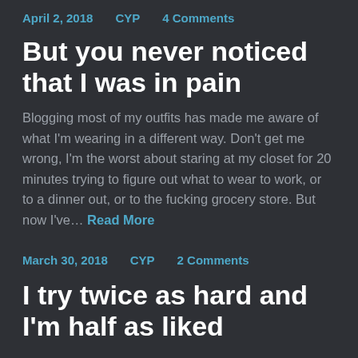April 2, 2018   CYP   4 Comments
But you never noticed that I was in pain
Blogging most of my outfits has made me aware of what I'm wearing in a different way. Don't get me wrong, I'm the worst about staring at my closet for 20 minutes trying to figure out what to wear to work, or to a dinner out, or to the fucking grocery store. But now I've… Read More
March 30, 2018   CYP   2 Comments
I try twice as hard and I'm half as liked